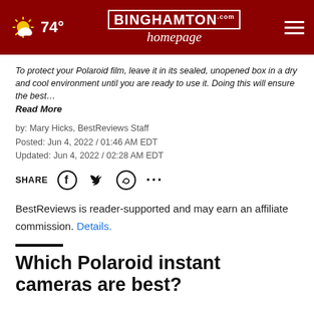74° BINGHAMTON homepage.com
To protect your Polaroid film, leave it in its sealed, unopened box in a dry and cool environment until you are ready to use it. Doing this will ensure the best…
Read More
by: Mary Hicks, BestReviews Staff
Posted: Jun 4, 2022 / 01:46 AM EDT
Updated: Jun 4, 2022 / 02:28 AM EDT
SHARE
BestReviews is reader-supported and may earn an affiliate commission. Details.
Which Polaroid instant cameras are best?